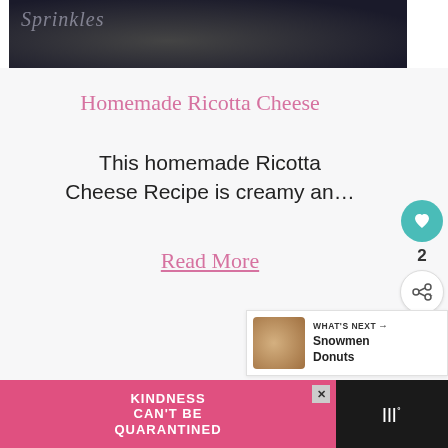[Figure (photo): Dark background food photo with 'Sprinkles' text overlay in light gray italic]
Homemade Ricotta Cheese
This homemade Ricotta Cheese Recipe is creamy an…
Read More
[Figure (infographic): Social sidebar with teal heart button, count '2', and share button]
[Figure (infographic): What's Next panel showing thumbnail and 'Snowmen Donuts' label]
[Figure (infographic): Pink advertisement banner reading 'KINDNESS CAN'T BE QUARANTINED' with close button and logo]